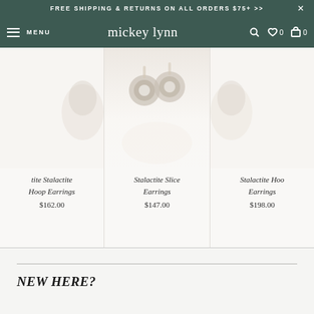FREE SHIPPING & RETURNS ON ALL ORDERS $75+ >>
mickey lynn — MENU — search — wishlist 0 — cart 0
[Figure (photo): Product photo of Stalactite earrings, partially visible on left]
tite Stalactite Hoop Earrings
$162.00
[Figure (photo): Product photo of Stalactite Slice Earrings, center, showing circular drop earrings with pearl centers]
Stalactite Slice Earrings
$147.00
[Figure (photo): Product photo of Stalactite Hoo Earrings, partially visible on right]
Stalactite Hoo Earrings
$198.00
NEW HERE?